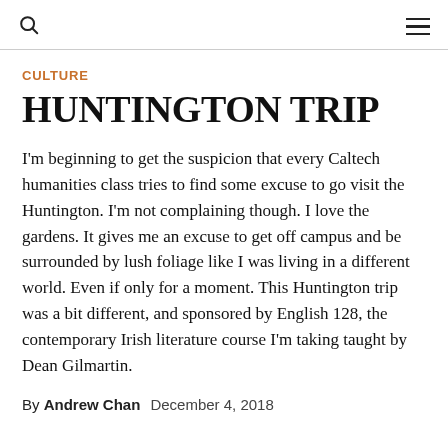CULTURE
HUNTINGTON TRIP
I'm beginning to get the suspicion that every Caltech humanities class tries to find some excuse to go visit the Huntington. I'm not complaining though. I love the gardens. It gives me an excuse to get off campus and be surrounded by lush foliage like I was living in a different world. Even if only for a moment. This Huntington trip was a bit different, and sponsored by English 128, the contemporary Irish literature course I'm taking taught by Dean Gilmartin.
By Andrew Chan   December 4, 2018